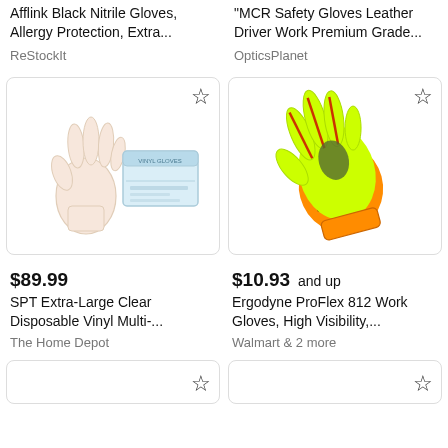Afflink Black Nitrile Gloves, Allergy Protection, Extra...
ReStockIt
"MCR Safety Gloves Leather Driver Work Premium Grade...
OpticsPlanet
[Figure (photo): Clear vinyl disposable gloves and box]
[Figure (photo): Yellow and orange high visibility work glove]
$89.99
SPT Extra-Large Clear Disposable Vinyl Multi-...
The Home Depot
$10.93 and up
Ergodyne ProFlex 812 Work Gloves, High Visibility,...
Walmart & 2 more